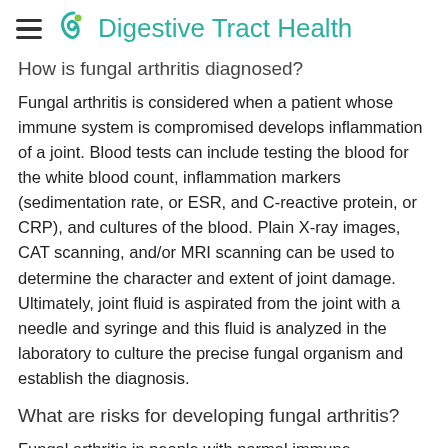Digestive Tract Health
How is fungal arthritis diagnosed?
Fungal arthritis is considered when a patient whose immune system is compromised develops inflammation of a joint. Blood tests can include testing the blood for the white blood count, inflammation markers (sedimentation rate, or ESR, and C-reactive protein, or CRP), and cultures of the blood. Plain X-ray images, CAT scanning, and/or MRI scanning can be used to determine the character and extent of joint damage. Ultimately, joint fluid is aspirated from the joint with a needle and syringe and this fluid is analyzed in the laboratory to culture the precise fungal organism and establish the diagnosis.
What are risks for developing fungal arthritis?
Fungal arthritis in people with normal immune systems is...